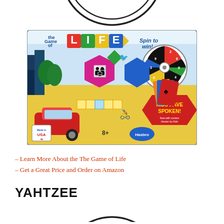[Figure (illustration): Partial arc/circle shape at top of page (bottom portion of a circle from previous page section)]
[Figure (photo): The Game of Life board game box showing colorful game board, spinner wheel labeled 'Spin to win!', red car, road signs, 'KIDS HAVE SPOKEN!' badge, Made in USA label, ages 8+, Hasbro branding]
– Learn More About the The Game of Life
– Get a Great Price and Order on Amazon
YAHTZEE
[Figure (illustration): Partial arc/circle shape at bottom of page (top portion of a circle for next page section)]